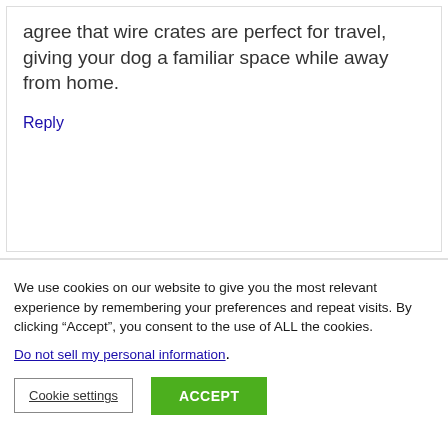agree that wire crates are perfect for travel, giving your dog a familiar space while away from home.
Reply
We use cookies on our website to give you the most relevant experience by remembering your preferences and repeat visits. By clicking “Accept”, you consent to the use of ALL the cookies.
Do not sell my personal information.
Cookie settings   ACCEPT